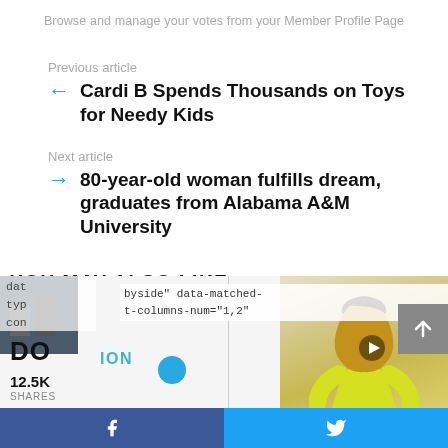Browse and manage your votes from your Member Profile Page
Previous article
Cardi B Spends Thousands on Toys for Needy Kids
Next article
80-year-old woman fulfills dream, graduates from Alabama A&M University
YOU MAY ALSO LIKE
12.5K SHARES
[Figure (screenshot): Bottom section showing partial article thumbnails, a person in yellow dress, code snippet text, social share bar with Facebook and Twitter buttons]